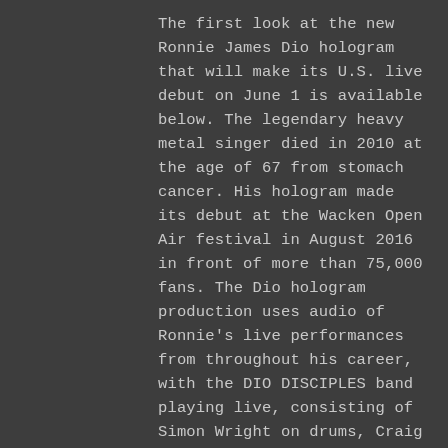The first look at the new Ronnie James Dio hologram that will make its U.S. live debut on June 1 is available below. The legendary heavy metal singer died in 2010 at the age of 67 from stomach cancer. His hologram made its debut at the Wacken Open Air festival in August 2016 in front of more than 75,000 fans. The Dio hologram production uses audio of Ronnie's live performances from throughout his career, with the DIO DISCIPLES band playing live, consisting of Simon Wright on drums, Craig Goldy on guitar, and Scott Warren on keyboards, along with Bjorn Englen on bass. Also appearing with them are former JUDAS PRIEST singer Tim "Ripper" Owens and ex-LYNCH MOB